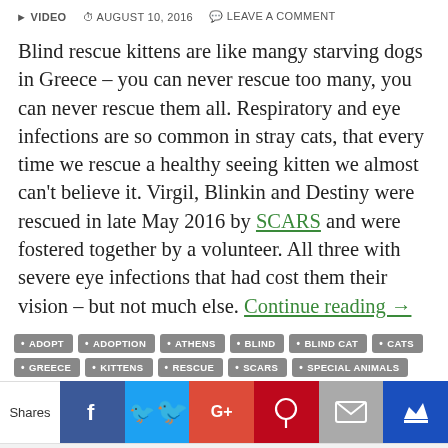VIDEO  AUGUST 10, 2016  LEAVE A COMMENT
Blind rescue kittens are like mangy starving dogs in Greece – you can never rescue too many, you can never rescue them all. Respiratory and eye infections are so common in stray cats, that every time we rescue a healthy seeing kitten we almost can't believe it. Virgil, Blinkin and Destiny were rescued in late May 2016 by SCARS and were fostered together by a volunteer. All three with severe eye infections that had cost them their vision – but not much else. Continue reading →
ADOPT
ADOPTION
ATHENS
BLIND
BLIND CAT
CATS
GREECE
KITTENS
RESCUE
SCARS
SPECIAL ANIMALS
Shares  Facebook  Twitter  Google+  Pinterest  Email  Crown
Follow amazing stories on rescue pets  Enter your email addres  SUBSCRIBE!